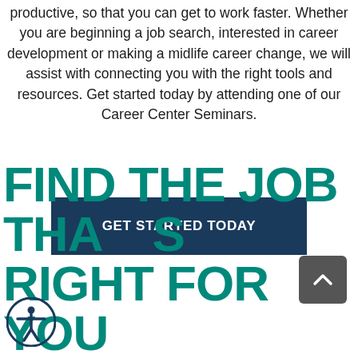productive, so that you can get to work faster. Whether you are beginning a job search, interested in career development or making a midlife career change, we will assist with connecting you with the right tools and resources. Get started today by attending one of our Career Center Seminars.
GET STARTED TODAY
FIND THE JOB THAT'S RIGHT FOR YOU